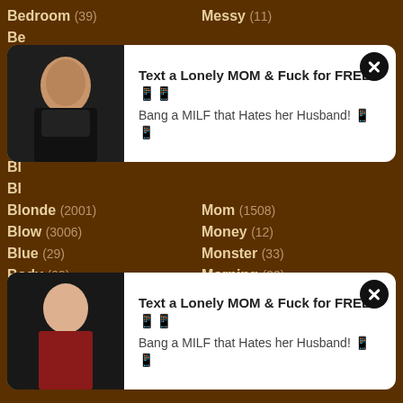Bedroom (39)
Messy (11)
Bisexual (169)
Military (0)
[Figure (other): Popup advertisement with woman photo: Text a Lonely MOM & Fuck for FREE, Bang a MILF that Hates her Husband!]
[Figure (other): Second popup advertisement with woman in red photo: Text a Lonely MOM & Fuck for FREE, Bang a MILF that Hates her Husband!]
Blonde (2001)
Mom (1508)
Blow (3006)
Money (12)
Blue (29)
Monster (33)
Body (69)
Morning (32)
Bondage (75)
Mouthful (3)
Boobs (1019)
Muscle (10)
Boots (16)
Nasty (37)
Booty (112)
Nature (6)